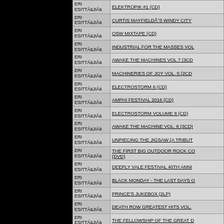| Artist | Title |
| --- | --- |
| ERI ESITTÄäJIÄä | ELEKTROPIK #1 (CD) |
| ERI ESITTÄäJIÄä | CURTIS MAYFIELDÅˆS WINDY CITY |
| ERI ESITTÄäJIÄä | OSW MIXTAPE (CD) |
| ERI ESITTÄäJIÄä | INDUSTRIAL FOR THE MASSES VOL |
| ERI ESITTÄäJIÄä | AWAKE THE MACHINES VOL 7 (3CD |
| ERI ESITTÄäJIÄä | MACHINERIES OF JOY VOL. 5 (2CD |
| ERI ESITTÄäJIÄä | ELECTROSTORM 6 (CD) |
| ERI ESITTÄäJIÄä | AMPHI FESTIVAL 2016 (CD) |
| ERI ESITTÄäJIÄä | ELECTROSTORM VOLUME 8 (CD) |
| ERI ESITTÄäJIÄä | AWAKE THE MACHINE VOL. 8 (3CD) |
| ERI ESITTÄäJIÄä | UNPIECING THE JIGSAW (A TRIBUT |
| ERI ESITTÄäJIÄä | THE FIRST BIG OUTDOOR ROCK CO (DVD) |
| ERI ESITTÄäJIÄä | DEEPLY VALE FESTIVAL 40TH ANNI |
| ERI ESITTÄäJIÄä | BLACK MONDAY - THE LAST DAYS O |
| ERI ESITTÄäJIÄä | PRINCE'S JUKEBOX (2LP) |
| ERI ESITTÄäJIÄä | DEATH ROW GREATEST HITS VOL. |
| ERI ESITTÄäJIÄä | THE FELLOWSHIP OF THE GREAT D |
| ERI ESITTÄäJIÄä | IN THE TWILIGHT, THESE ROCKS H |
| ERI ESITTÄäJIÄä |  |